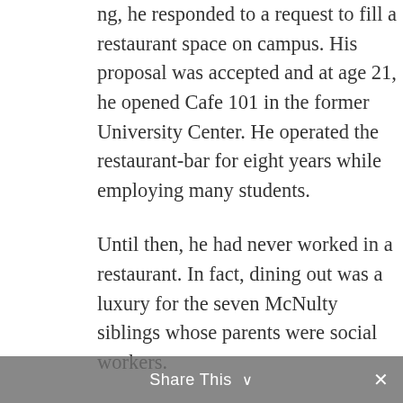ng, he responded to a request to fill a restaurant space on campus. His proposal was accepted and at age 21, he opened Cafe 101 in the former University Center. He operated the restaurant-bar for eight years while employing many students.
Until then, he had never worked in a restaurant. In fact, dining out was a luxury for the seven McNulty siblings whose parents were social workers.
“How hard could it be to run a restaurant?” he remembers asking himself. The rest is history.
A 2014 recipient of CSU’s Distinguished Alumni Award, McNulty’s entrepreneurial